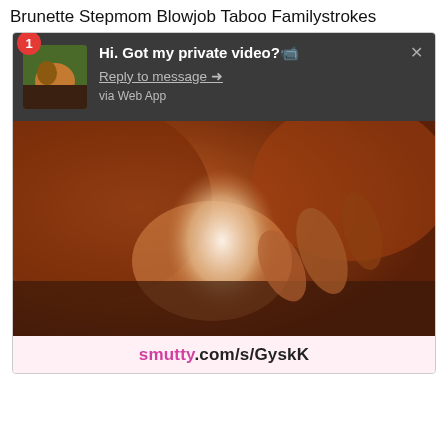Brunette Stepmom Blowjob Taboo Familystrokes
[Figure (screenshot): Screenshot of a web page showing a dark notification overlay with text 'Hi. Got my private video? Reply to message via Web App', overlaid on a blurry close-up video thumbnail, with a URL bar reading smutty.com/s/GyskK at the bottom]